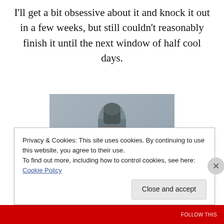I'll get a bit obsessive about it and knock it out in a few weeks, but still couldn't reasonably finish it until the next window of half cool days.
[Figure (photo): A dressmaker's mannequin wearing a mustard/amber colored jacket or coat, with a grey knit fabric visible underneath at the neckline. The background is a muted blue-grey.]
Privacy & Cookies: This site uses cookies. By continuing to use this website, you agree to their use.
To find out more, including how to control cookies, see here: Cookie Policy
Close and accept